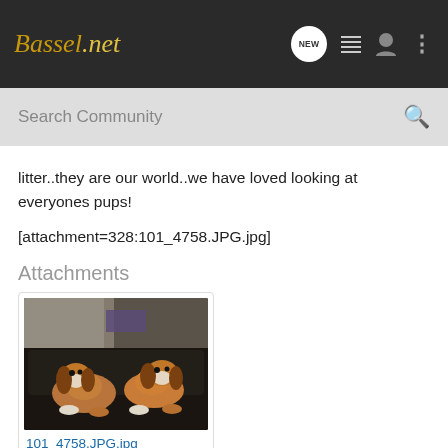Basset.net
Search Community
litter..they are our world..we have loved looking at everyones pups!
[attachment=328:101_4758.JPG.jpg]
Attachments
[Figure (photo): Two Basset Hound dogs sitting on a dark leather sofa/couch with a pillow behind them]
101_4758.JPG.jpg
31.3 KB    Views: 196